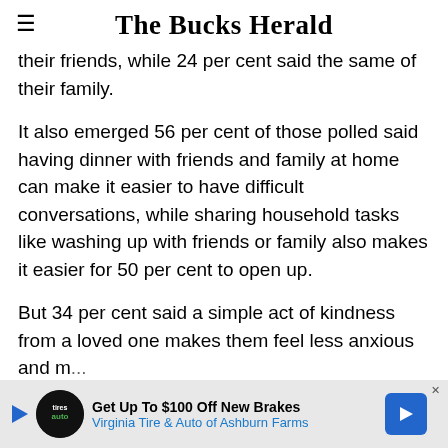The Bucks Herald
their friends, while 24 per cent said the same of their family.
It also emerged 56 per cent of those polled said having dinner with friends and family at home can make it easier to have difficult conversations, while sharing household tasks like washing up with friends or family also makes it easier for 50 per cent to open up.
But 34 per cent said a simple act of kindness from a loved one makes them feel less anxious and m...
[Figure (other): Advertisement banner: Get Up To $100 Off New Brakes - Virginia Tire & Auto of Ashburn Farms, with a play button, logo circle, and blue arrow button]